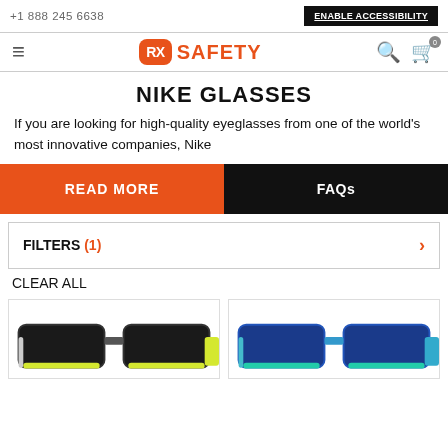+1 888 245 6638 | ENABLE ACCESSIBILITY
[Figure (logo): RX Safety logo with orange rounded square containing RX and SAFETY text in orange]
NIKE GLASSES
If you are looking for high-quality eyeglasses from one of the world's most innovative companies, Nike
READ MORE
FAQs
FILTERS (1)
CLEAR ALL
[Figure (photo): Black and yellow Nike eyeglasses frame]
[Figure (photo): Blue and green Nike eyeglasses frame]